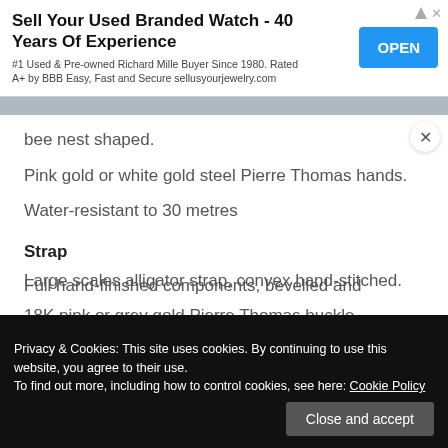[Figure (screenshot): Advertisement banner: 'Sell Your Used Branded Watch - 40 Years Of Experience' with blue OPEN button. #1 Used & Pre-owned Richard Mille Buyer Since 1980. Rated A+ by BBB Easy, Fast and Secure sellusyourjewelry.com]
bee nest shaped.
Pink gold or white gold steel Pierre Thomas hands.
Water-resistant to 30 metres
Strap
Large scales alligator strap, convex hand-stitched.
18K pink or grey gold Pierre Thomas buckle.
Movement
Full hand-finished components, bevelled and
Privacy & Cookies: This site uses cookies. By continuing to use this website, you agree to their use.
To find out more, including how to control cookies, see here: Cookie Policy
Close and accept